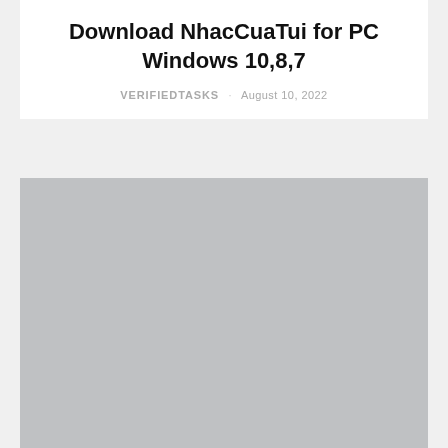Download NhacCuaTui for PC Windows 10,8,7
VERIFIEDTASKS · August 10, 2022
[Figure (photo): Large gray placeholder image area below the article header]